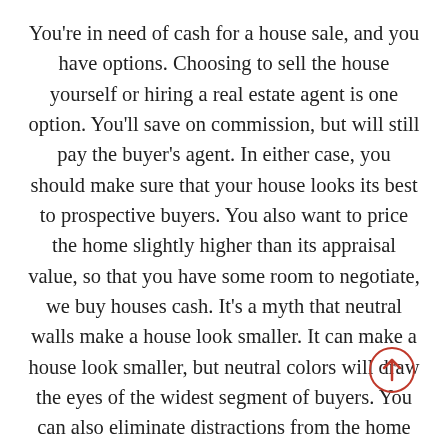You're in need of cash for a house sale, and you have options. Choosing to sell the house yourself or hiring a real estate agent is one option. You'll save on commission, but will still pay the buyer's agent. In either case, you should make sure that your house looks its best to prospective buyers. You also want to price the home slightly higher than its appraisal value, so that you have some room to negotiate, we buy houses cash. It's a myth that neutral walls make a house look smaller. It can make a house look smaller, but neutral colors will draw the eyes of the widest segment of buyers. You can also eliminate distractions from the home by painting the walls a neutral shade. For example, if your house has bright yellow paint, you should paint it a neutral color. You can also replace the handles on the front door. The best time to sell a house is May or June. People have more time to look for a new home before summer begins. Taking advantage of a low inventory and a hot market can help you sell your house fast. When choosing